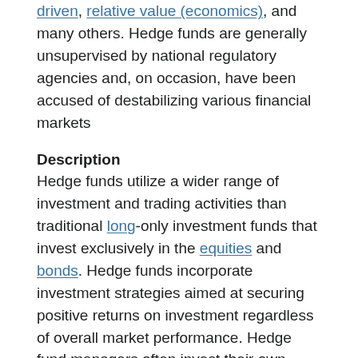driven, relative value (economics), and many others. Hedge funds are generally unsupervised by national regulatory agencies and, on occasion, have been accused of destabilizing various financial markets
Description
Hedge funds utilize a wider range of investment and trading activities than traditional long-only investment funds that invest exclusively in the equities and bonds. Hedge funds incorporate investment strategies aimed at securing positive returns on investment regardless of overall market performance. Hedge fund managers often invest their own money in the fund(s) they manage, which further aligns their interests with their investors. Investors in hedge funds typically pay a management fee that goes toward the operational costs of the fund, and an annual performance fee when the fund's net asset value is higher than that of the previous year. Many hedge funds manage billions of dollars from large institutional investors, including pension funds, university endowments, and foundations. 61 percent of